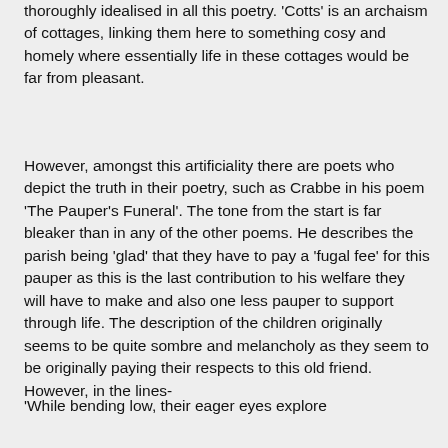thoroughly idealised in all this poetry. 'Cotts' is an archaism of cottages, linking them here to something cosy and homely where essentially life in these cottages would be far from pleasant.
However, amongst this artificiality there are poets who depict the truth in their poetry, such as Crabbe in his poem 'The Pauper's Funeral'. The tone from the start is far bleaker than in any of the other poems. He describes the parish being 'glad' that they have to pay a 'fugal fee' for this pauper as this is the last contribution to his welfare they will have to make and also one less pauper to support through life. The description of the children originally seems to be quite sombre and melancholy as they seem to be originally paying their respects to this old friend. However, in the lines-
'While bending low, their eager eyes explore